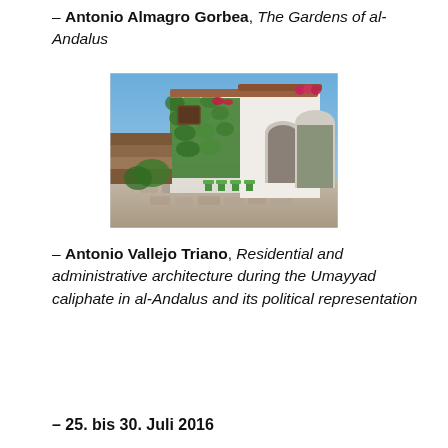– Antonio Almagro Gorbea, The Gardens of al-Andalus
[Figure (photo): Photograph of a whitewashed Andalusian-style building courtyard with green ivy-covered walls, wooden doors and windows with red flower boxes, an arched entrance, cobblestone ground, and green metal chairs arranged outside.]
– Antonio Vallejo Triano, Residential and administrative architecture during the Umayyad caliphate in al-Andalus and its political representation
25. bis 30. Juli 2016